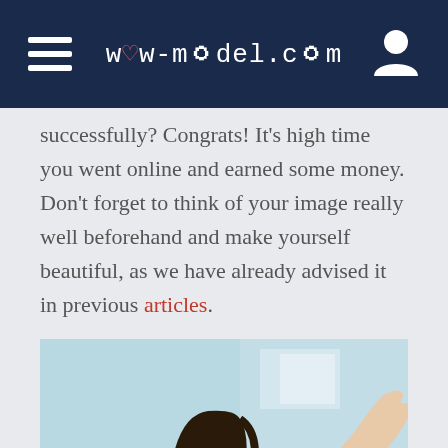wow-model.com
successfully? Congrats! It’s high time you went online and earned some money. Don’t forget to think of your image really well beforehand and make yourself beautiful, as we have already advised it in previous articles.
[Figure (photo): Young woman with dark hair lying on a bed, smiling at a laptop computer. She is wearing a white outfit. The background is a light blue/teal room setting.]